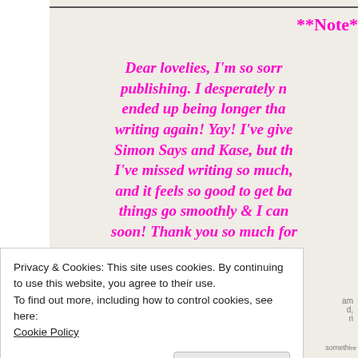**Note*
Dear lovelies, I'm so sorry publishing. I desperately n ended up being longer tha writing again! Yay! I've give Simon Says and Kase, but th I've missed writing so much, and it feels so good to get ba things go smoothly & I can soon! Thank you so much for
Privacy & Cookies: This site uses cookies. By continuing to use this website, you agree to their use.
To find out more, including how to control cookies, see here:
Cookie Policy
Close and accept